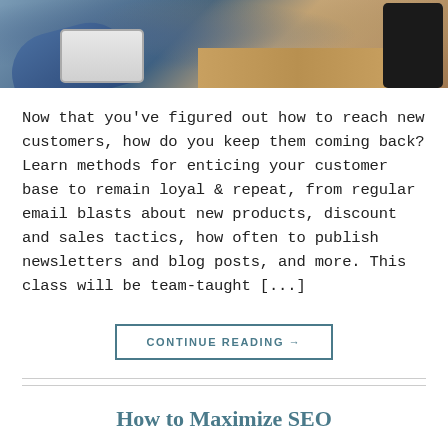[Figure (photo): Person in blue checkered shirt using a mouse/device on a wooden desk, with a notebook and tablet visible]
Now that you've figured out how to reach new customers, how do you keep them coming back? Learn methods for enticing your customer base to remain loyal & repeat, from regular email blasts about new products, discount and sales tactics, how often to publish newsletters and blog posts, and more. This class will be team-taught [...]
CONTINUE READING →
How to Maximize SEO